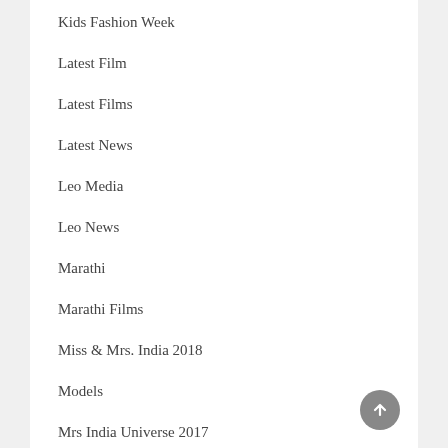Kids Fashion Week
Latest Film
Latest Films
Latest News
Leo Media
Leo News
Marathi
Marathi Films
Miss & Mrs. India 2018
Models
Mrs India Universe 2017
Mrs Universe 2017
Mrs Worldwide India 2018
Music Directors